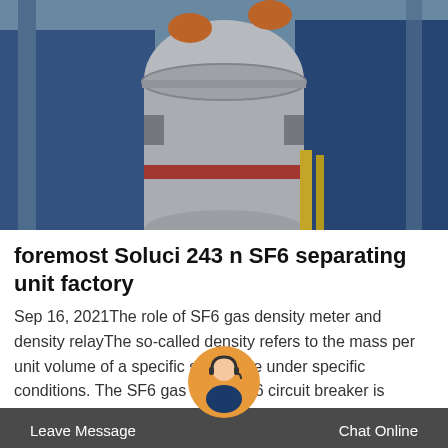[Figure (photo): Two workers in blue coveralls working on a large cylindrical industrial vessel/SF6 circuit breaker equipment outdoors]
foremost Soluci 243 n SF6 separating unit factory
Sep 16, 2021The role of SF6 gas density meter and density relayThe so-called density refers to the mass per unit volume of a specific substance under specific conditions. The SF6 gas in the SF6 circuit breaker is sealed in a sealed container. It has a certain density value under the rated at 20°C.